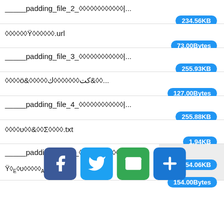_____padding_file_2_������������|... 234.56KB
������Ÿ�������.url 73.00Bytes
_____padding_file_3_������������|... 255.93KB
��ö&�����ΤΩ�����&ψ... 127.00Bytes
_____padding_file_4_������������|... 255.88KB
����υ��&��Σ����.txt 1.94KB
_____padding_file_5_������������|... 254.06KB
Ÿ��υ������.lol 154.00Bytes